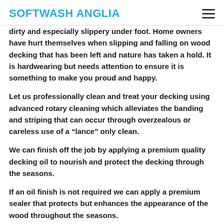SOFTWASH ANGLIA
dirty and especially slippery under foot. Home owners have hurt themselves when slipping and falling on wood decking that has been left and nature has taken a hold. It is hardwearing but needs attention to ensure it is something to make you proud and happy.
Let us professionally clean and treat your decking using advanced rotary cleaning which alleviates the banding and striping that can occur through overzealous or careless use of a “lance” only clean.
We can finish off the job by applying a premium quality decking oil to nourish and protect the decking through the seasons.
If an oil finish is not required we can apply a premium sealer that protects but enhances the appearance of the wood throughout the seasons.